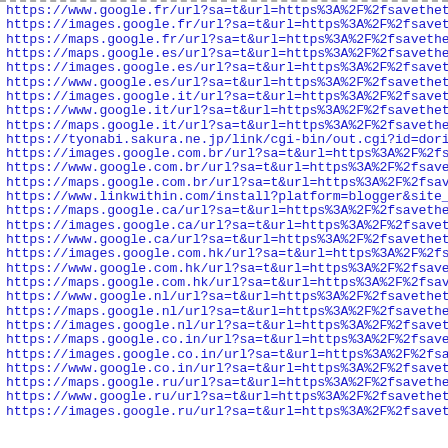https://www.google.fr/url?sa=t&url=https%3A%2F%2fsavethetec…
https://images.google.fr/url?sa=t&url=https%3A%2F%2fsavethe…
https://maps.google.fr/url?sa=t&url=https%3A%2F%2fsavethetec…
https://maps.google.es/url?sa=t&url=https%3A%2F%2fsavethetec…
https://images.google.es/url?sa=t&url=https%3A%2F%2fsavethe…
https://www.google.es/url?sa=t&url=https%3A%2F%2fsavethetec…
https://images.google.it/url?sa=t&url=https%3A%2F%2fsavethe…
https://www.google.it/url?sa=t&url=https%3A%2F%2fsavethetec…
https://maps.google.it/url?sa=t&url=https%3A%2F%2fsavethetec…
https://tyonabi.sakura.ne.jp/link/cgi-bin/out.cgi?id=dorian…
https://images.google.com.br/url?sa=t&url=https%3A%2F%2fsav…
https://www.google.com.br/url?sa=t&url=https%3A%2F%2fsaveth…
https://maps.google.com.br/url?sa=t&url=https%3A%2F%2fsavet…
https://www.linkwithin.com/install?platform=blogger&site_id…
https://maps.google.ca/url?sa=t&url=https%3A%2F%2fsavethetec…
https://images.google.ca/url?sa=t&url=https%3A%2F%2fsavethe…
https://www.google.ca/url?sa=t&url=https%3A%2F%2fsavethetec…
https://images.google.com.hk/url?sa=t&url=https%3A%2F%2fsav…
https://www.google.com.hk/url?sa=t&url=https%3A%2F%2fsaveth…
https://maps.google.com.hk/url?sa=t&url=https%3A%2F%2fsavet…
https://www.google.nl/url?sa=t&url=https%3A%2F%2fsavethetec…
https://maps.google.nl/url?sa=t&url=https%3A%2F%2fsavethetec…
https://images.google.nl/url?sa=t&url=https%3A%2F%2fsavethe…
https://maps.google.co.in/url?sa=t&url=https%3A%2F%2fsaveth…
https://images.google.co.in/url?sa=t&url=https%3A%2F%2fsave…
https://www.google.co.in/url?sa=t&url=https%3A%2F%2fsavethe…
https://maps.google.ru/url?sa=t&url=https%3A%2F%2fsavethetec…
https://www.google.ru/url?sa=t&url=https%3A%2F%2fsavethetec…
https://images.google.ru/url?sa=t&url=https%3A%2F%2fsavethe…